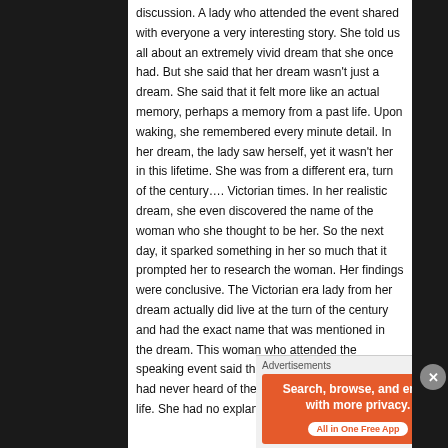discussion. A lady who attended the event shared with everyone a very interesting story. She told us all about an extremely vivid dream that she once had. But she said that her dream wasn't just a dream. She said that it felt more like an actual memory, perhaps a memory from a past life. Upon waking, she remembered every minute detail. In her dream, the lady saw herself, yet it wasn't her in this lifetime. She was from a different era, turn of the century…. Victorian times. In her realistic dream, she even discovered the name of the woman who she thought to be her. So the next day, it sparked something in her so much that it prompted her to research the woman. Her findings were conclusive. The Victorian era lady from her dream actually did live at the turn of the century and had the exact name that was mentioned in the dream. This woman who attended the speaking event said that prior to her dream, she had never heard of the Victorian lady before in her life. She had no explanation to why she had
Advertisements
[Figure (other): DuckDuckGo advertisement banner: orange background with text 'Search, browse, and email with more privacy. All in One Free App' and DuckDuckGo duck logo on black background.]